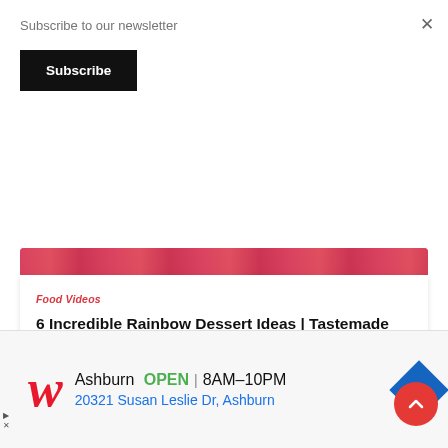Subscribe to our newsletter
Subscribe
[Figure (photo): Pink/red background image strip, partially visible at top of content card]
Food Videos
6 Incredible Rainbow Dessert Ideas | Tastemade Sweeten
[Figure (other): Red circular FAB button with upward chevron arrow]
[Figure (other): Walgreens advertisement: Ashburn OPEN 8AM-10PM, 20321 Susan Leslie Dr, Ashburn, with Walgreens W logo and navigation diamond icon]